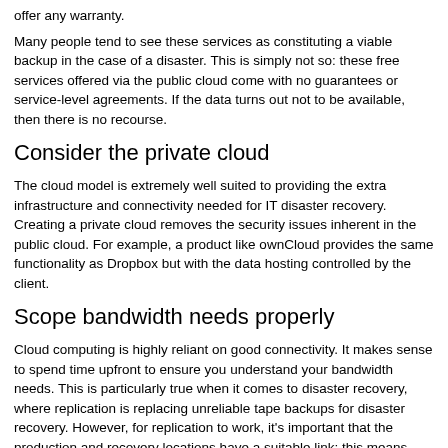offer any warranty.
Many people tend to see these services as constituting a viable backup in the case of a disaster. This is simply not so: these free services offered via the public cloud come with no guarantees or service-level agreements. If the data turns out not to be available, then there is no recourse.
Consider the private cloud
The cloud model is extremely well suited to providing the extra infrastructure and connectivity needed for IT disaster recovery. Creating a private cloud removes the security issues inherent in the public cloud. For example, a product like ownCloud provides the same functionality as Dropbox but with the data hosting controlled by the client.
Scope bandwidth needs properly
Cloud computing is highly reliant on good connectivity. It makes sense to spend time upfront to ensure you understand your bandwidth needs. This is particularly true when it comes to disaster recovery, where replication is replacing unreliable tape backups for disaster recovery. However, for replication to work, it's important that the production and recovery locations have a suitable link; this means considering not only the rate of change within the production environment but also what bandwidth would be required after restoring systems in the event of a disaster.